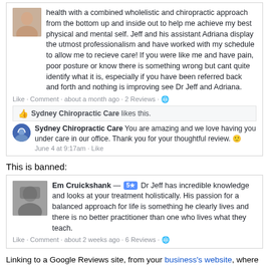[Figure (screenshot): Facebook review screenshot showing a review about Sydney Chiropractic Care with a like/comment bar and a reply from Sydney Chiropractic Care.]
This is banned:
[Figure (screenshot): Facebook review screenshot from Em Cruickshank with a 5-star badge praising Dr Jeff's holistic knowledge and approach.]
Linking to a Google Reviews site, from your business's website, where people can leave testimonials is banned (they are still under Brooks' control):